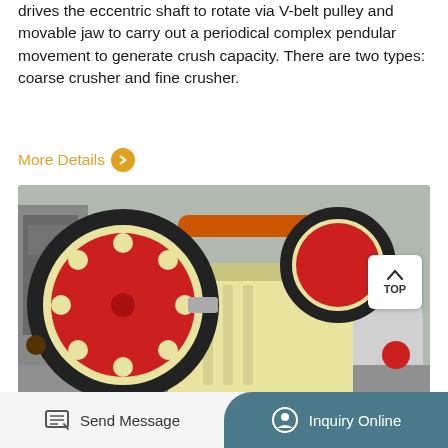drives the eccentric shaft to rotate via V-belt pulley and movable jaw to carry out a periodical complex pendular movement to generate crush capacity. There are two types: coarse crusher and fine crusher.
More Details >
[Figure (photo): Industrial jaw crusher machine with large red and cream-colored flywheel, photographed in a factory/industrial setting. The machine has a prominent circular flywheel with red face and black trim, mounted on a cream/yellow body, with industrial equipment visible in the background.]
Send Message
Inquiry Online